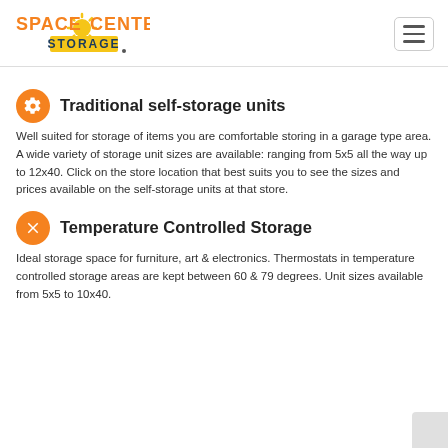Space Center Storage
Traditional self-storage units
Well suited for storage of items you are comfortable storing in a garage type area. A wide variety of storage unit sizes are available: ranging from 5x5 all the way up to 12x40. Click on the store location that best suits you to see the sizes and prices available on the self-storage units at that store.
Temperature Controlled Storage
Ideal storage space for furniture, art & electronics. Thermostats in temperature controlled storage areas are kept between 60 & 79 degrees. Unit sizes available from 5x5 to 10x40.